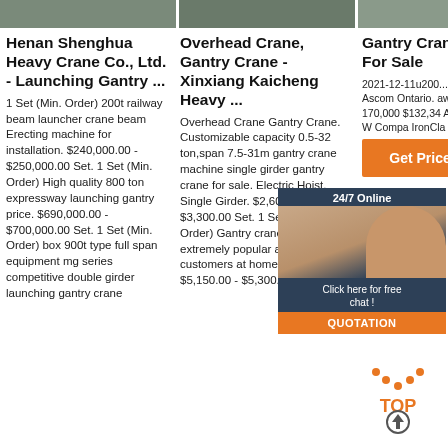[Figure (photo): Three product images in a horizontal strip at the top]
Henan Shenghua Heavy Crane Co., Ltd. - Launching Gantry ...
1 Set (Min. Order) 200t railway beam launcher crane beam Erecting machine for installation. $240,000.00 - $250,000.00 Set. 1 Set (Min. Order) High quality 800 ton expressway launching gantry price. $690,000.00 - $700,000.00 Set. 1 Set (Min. Order) box 900t type full span equipment mg series competitive double girder launching gantry crane
Overhead Crane, Gantry Crane - Xinxiang Kaicheng Heavy ...
Overhead Crane Gantry Crane. Customizable capacity 0.5-32 ton,span 7.5-31m gantry crane machine single girder gantry crane for sale. Electric Hoist. Single Girder. $2,600.00 - $3,300.00 Set. 1 Set (Min. Order) Gantry crane 30ton extremely popular among customers at home and abroad. $5,150.00 - $5,300.00 Set.
Gantry Crane For Sale
2021-12-11u200... Ascom Ontario. away) B 170,000 $132,34 Add to W Compa IronCla
[Figure (infographic): 24/7 Online chat overlay with agent photo, Click here for free chat, and QUOTATION button]
[Figure (illustration): TOP arrow icon in orange and grey at bottom right]